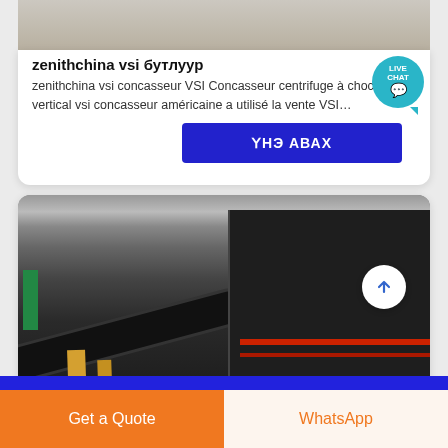[Figure (photo): Industrial conveyor belt and machinery equipment in a factory setting, partial view at top of card]
zenithchina vsi бутлуур
zenithchina vsi concasseur VSI Concasseur centrifuge à choc vertical vsi concasseur américaine a utilisé la vente VSI…
ҮНЭ АВАХ
[Figure (photo): Factory floor with large black industrial conveyor belt equipment and heavy machinery with red accents]
Get a Quote
WhatsApp